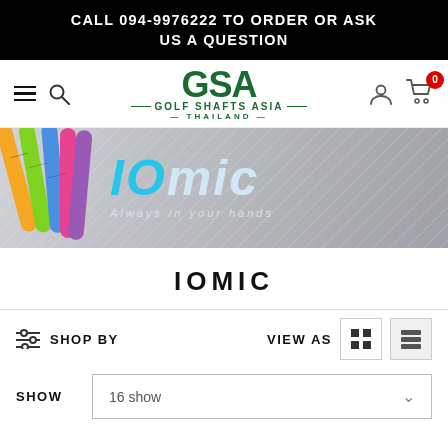CALL 094-9976222 TO ORDER OR ASK US A QUESTION
[Figure (logo): GSA Golf Shafts Asia Thailand logo with hamburger menu, search icon, user icon, and cart badge showing 0]
[Figure (photo): IOMIC golf grips banner with colorful grips on left and IOMIC logo with tagline 'Always in your hands' on grey background]
IOMIC
SHOP BY
VIEW AS
SHOW
16 show